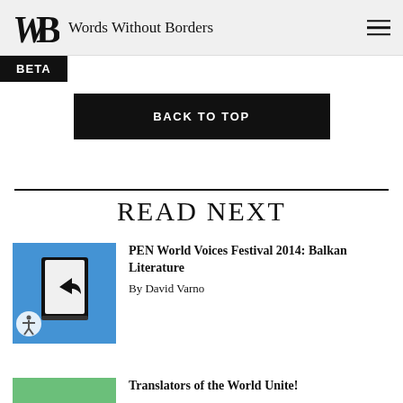Words Without Borders
BETA
BACK TO TOP
READ NEXT
[Figure (illustration): Blue square thumbnail with a black book icon showing a share/forward arrow, Words Without Borders style]
PEN World Voices Festival 2014: Balkan Literature
By David Varno
[Figure (illustration): Green square thumbnail partially visible at bottom]
Translators of the World Unite!